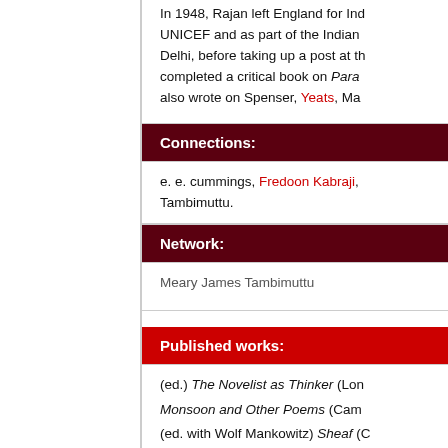In 1948, Rajan left England for India, working for UNICEF and as part of the Indian delegation in Delhi, before taking up a post at th... completed a critical book on Para... also wrote on Spenser, Yeats, Ma...
Connections:
e. e. cummings, Fredoon Kabraji, Tambimuttu.
Network:
Meary James Tambimuttu
Published works:
(ed.) The Novelist as Thinker (Lon...
Monsoon and Other Poems (Cam...
(ed. with Wolf Mankowitz) Sheaf (C...